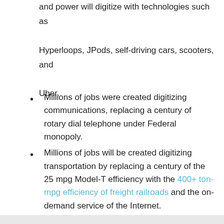and power will digitize with technologies such as Hyperloops, JPods, self-driving cars, scooters, and Uber.
Millions of jobs were created digitizing communications, replacing a century of rotary dial telephone under Federal monopoly.
Millions of jobs will be created digitizing transportation by replacing a century of the 25 mpg Model-T efficiency with the 400+ ton-mpg efficiency of freight railroads and the on-demand service of the Internet.